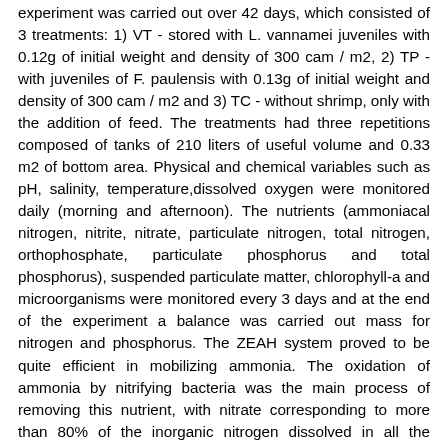experiment was carried out over 42 days, which consisted of 3 treatments: 1) VT - stored with L. vannamei juveniles with 0.12g of initial weight and density of 300 cam / m2, 2) TP - with juveniles of F. paulensis with 0.13g of initial weight and density of 300 cam / m2 and 3) TC - without shrimp, only with the addition of feed. The treatments had three repetitions composed of tanks of 210 liters of useful volume and 0.33 m2 of bottom area. Physical and chemical variables such as pH, salinity, temperature,dissolved oxygen were monitored daily (morning and afternoon). The nutrients (ammoniacal nitrogen, nitrite, nitrate, particulate nitrogen, total nitrogen, orthophosphate, particulate phosphorus and total phosphorus), suspended particulate matter, chlorophyll-a and microorganisms were monitored every 3 days and at the end of the experiment a balance was carried out mass for nitrogen and phosphorus. The ZEAH system proved to be quite efficient in mobilizing ammonia. The oxidation of ammonia by nitrifying bacteria was the main process of removing this nutrient, with nitrate corresponding to more than 80% of the inorganic nitrogen dissolved in all the studied treatments. Of the total N and P added by the feed, the shrimp absorbed 42% of N and 35% of P in TV and 21.5% of N and 16% of P in TP,these high values